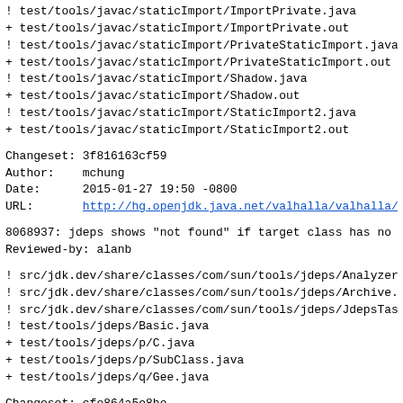! test/tools/javac/staticImport/ImportPrivate.java
+ test/tools/javac/staticImport/ImportPrivate.out
! test/tools/javac/staticImport/PrivateStaticImport.java
+ test/tools/javac/staticImport/PrivateStaticImport.out
! test/tools/javac/staticImport/Shadow.java
+ test/tools/javac/staticImport/Shadow.out
! test/tools/javac/staticImport/StaticImport2.java
+ test/tools/javac/staticImport/StaticImport2.out
Changeset: 3f816163cf59
Author:    mchung
Date:      2015-01-27 19:50 -0800
URL:       http://hg.openjdk.java.net/valhalla/valhalla/
8068937: jdeps shows "not found" if target class has no m
Reviewed-by: alanb
! src/jdk.dev/share/classes/com/sun/tools/jdeps/Analyzer
! src/jdk.dev/share/classes/com/sun/tools/jdeps/Archive.j
! src/jdk.dev/share/classes/com/sun/tools/jdeps/JdepsTask
! test/tools/jdeps/Basic.java
+ test/tools/jdeps/p/C.java
+ test/tools/jdeps/p/SubClass.java
+ test/tools/jdeps/q/Gee.java
Changeset: cfe864a5e8be
Author:    jjg
Date:      2015-01-29 14:43 -0800
URL:       http://hg.openjdk.java.net/valhalla/valhalla/